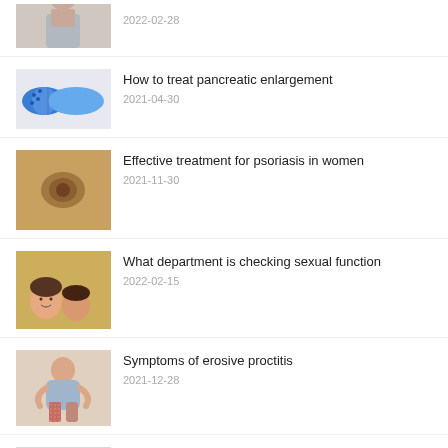[Figure (photo): Partial thumbnail of a person (cropped at top)]
2022-02-28
[Figure (photo): Blue and white medication capsule pill]
How to treat pancreatic enlargement
2021-04-30
[Figure (photo): Skin with psoriasis lesion on brown/tan surface]
Effective treatment for psoriasis in women
2021-11-30
[Figure (photo): Two people lying on autumn leaves outdoors, smiling]
What department is checking sexual function
2022-02-15
[Figure (photo): Person holding their abdomen in pain]
Symptoms of erosive proctitis
2021-12-28
[Figure (photo): Person with female infertility consultation (partial)]
The manifestation of female infertility
2022-06-07